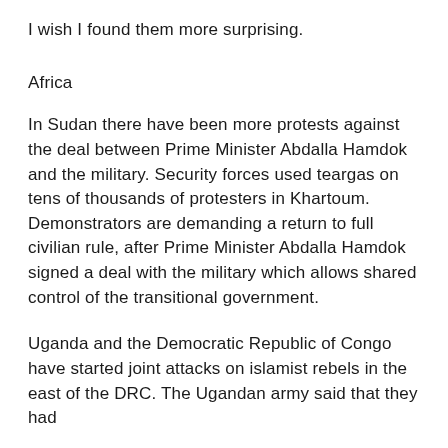I wish I found them more surprising.
Africa
In Sudan there have been more protests against the deal between Prime Minister Abdalla Hamdok and the military. Security forces used teargas on tens of thousands of protesters in Khartoum. Demonstrators are demanding a return to full civilian rule, after Prime Minister Abdalla Hamdok signed a deal with the military which allows shared control of the transitional government.
Uganda and the Democratic Republic of Congo have started joint attacks on islamist rebels in the east of the DRC. The Ugandan army said that they had